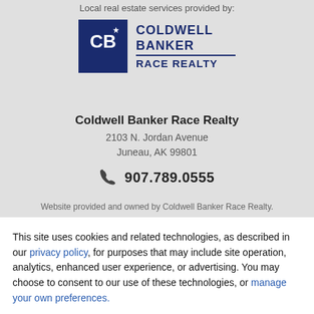Local real estate services provided by:
[Figure (logo): Coldwell Banker Race Realty logo — dark blue square with CB monogram and star, beside bold text COLDWELL BANKER / RACE REALTY]
Coldwell Banker Race Realty
2103 N. Jordan Avenue
Juneau, AK 99801
907.789.0555
Website provided and owned by Coldwell Banker Race Realty.
This site uses cookies and related technologies, as described in our privacy policy, for purposes that may include site operation, analytics, enhanced user experience, or advertising. You may choose to consent to our use of these technologies, or manage your own preferences.
Decline
Accept